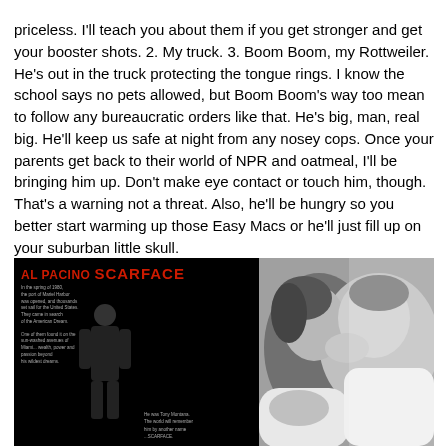priceless. I'll teach you about them if you get stronger and get your booster shots. 2. My truck. 3. Boom Boom, my Rottweiler. He's out in the truck protecting the tongue rings. I know the school says no pets allowed, but Boom Boom's way too mean to follow any bureaucratic orders like that. He's big, man, real big. He'll keep us safe at night from any nosey cops. Once your parents get back to their world of NPR and oatmeal, I'll be bringing him up. Don't make eye contact or touch him, though. That's a warning not a threat. Also, he'll be hungry so you better start warming up those Easy Macs or he'll just fill up on your suburban little skull.
But before we get Boom Boom in the mix, which of these three posters should I hang up?
[Figure (photo): Two movie posters side by side. Left: Scarface movie poster with Al Pacino text in red on black background, showing a figure of a man in suit. Right: Black and white photo of two people kissing.]